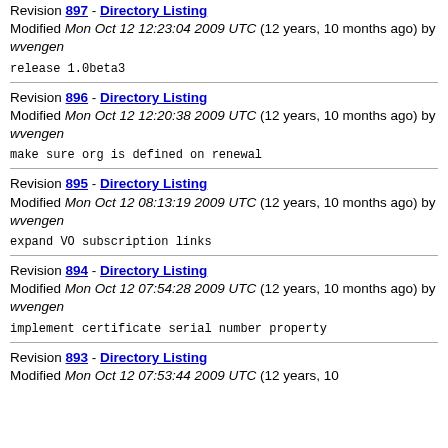Revision 897 - Directory Listing
Modified Mon Oct 12 12:23:04 2009 UTC (12 years, 10 months ago) by wvengen
release 1.0beta3
Revision 896 - Directory Listing
Modified Mon Oct 12 12:20:38 2009 UTC (12 years, 10 months ago) by wvengen
make sure org is defined on renewal
Revision 895 - Directory Listing
Modified Mon Oct 12 08:13:19 2009 UTC (12 years, 10 months ago) by wvengen
expand VO subscription links
Revision 894 - Directory Listing
Modified Mon Oct 12 07:54:28 2009 UTC (12 years, 10 months ago) by wvengen
implement certificate serial number property
Revision 893 - Directory Listing
Modified Mon Oct 12 07:53:44 2009 UTC (12 years, 10 months ago)